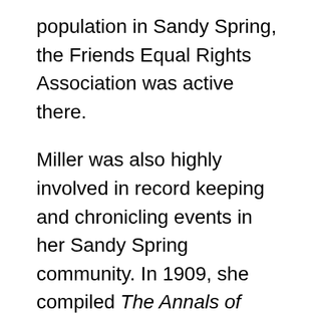population in Sandy Spring, the Friends Equal Rights Association was active there.
Miller was also highly involved in record keeping and chronicling events in her Sandy Spring community. In 1909, she compiled The Annals of Sandy Spring: History of a Rural Community in Maryland, volume 3. The Annals of Sandy Spring chronicled all births, deaths, travel, meetings, organizations, and events within the community.
Miller's involvement with suffrage lasted